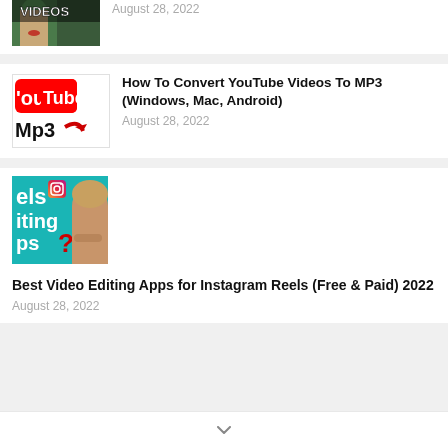[Figure (screenshot): Partially visible thumbnail of a video about videos, showing a woman with green hair and red lips with text 'VIDEOS' at top]
August 28, 2022
[Figure (screenshot): YouTube to MP3 thumbnail showing YouTube logo and 'Mp3' text with red arrow]
How To Convert YouTube Videos To MP3 (Windows, Mac, Android)
August 28, 2022
[Figure (screenshot): Teal thumbnail showing 'eIs', 'iting', 'ops?' text with Instagram Reels icon and woman's face]
Best Video Editing Apps for Instagram Reels (Free & Paid) 2022
August 28, 2022